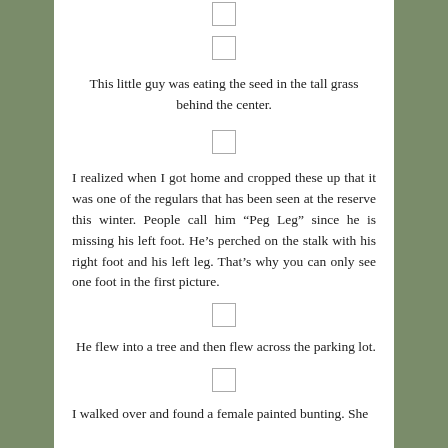[Figure (other): Small checkbox placeholder image]
[Figure (other): Small checkbox placeholder image]
This little guy was eating the seed in the tall grass behind the center.
[Figure (other): Small checkbox placeholder image]
I realized when I got home and cropped these up that it was one of the regulars that has been seen at the reserve this winter. People call him “Peg Leg” since he is missing his left foot. He’s perched on the stalk with his right foot and his left leg. That’s why you can only see one foot in the first picture.
[Figure (other): Small checkbox placeholder image]
He flew into a tree and then flew across the parking lot.
[Figure (other): Small checkbox placeholder image]
I walked over and found a female painted bunting. She